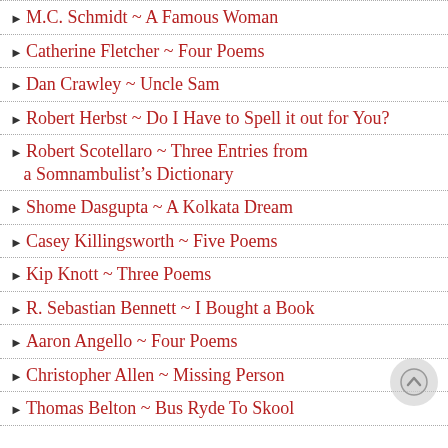M.C. Schmidt ~ A Famous Woman
Catherine Fletcher ~ Four Poems
Dan Crawley ~ Uncle Sam
Robert Herbst ~ Do I Have to Spell it out for You?
Robert Scotellaro ~ Three Entries from a Somnambulist's Dictionary
Shome Dasgupta ~ A Kolkata Dream
Casey Killingsworth ~ Five Poems
Kip Knott ~ Three Poems
R. Sebastian Bennett ~ I Bought a Book
Aaron Angello ~ Four Poems
Christopher Allen ~ Missing Person
Thomas Belton ~ Bus Ryde To Skool